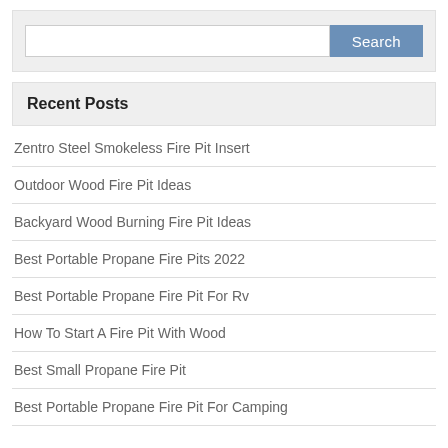[Figure (screenshot): Search widget with a text input field and a blue Search button on a light grey background]
Recent Posts
Zentro Steel Smokeless Fire Pit Insert
Outdoor Wood Fire Pit Ideas
Backyard Wood Burning Fire Pit Ideas
Best Portable Propane Fire Pits 2022
Best Portable Propane Fire Pit For Rv
How To Start A Fire Pit With Wood
Best Small Propane Fire Pit
Best Portable Propane Fire Pit For Camping